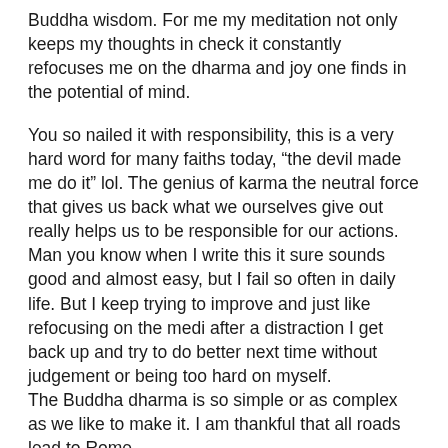Buddha wisdom. For me my meditation not only keeps my thoughts in check it constantly refocuses me on the dharma and joy one finds in the potential of mind.
You so nailed it with responsibility, this is a very hard word for many faiths today, “the devil made me do it” lol. The genius of karma the neutral force that gives us back what we ourselves give out really helps us to be responsible for our actions. Man you know when I write this it sure sounds good and almost easy, but I fail so often in daily life. But I keep trying to improve and just like refocusing on the medi after a distraction I get back up and try to do better next time without judgement or being too hard on myself.
The Buddha dharma is so simple or as complex as we like to make it. I am thankful that all roads lead to Rome.